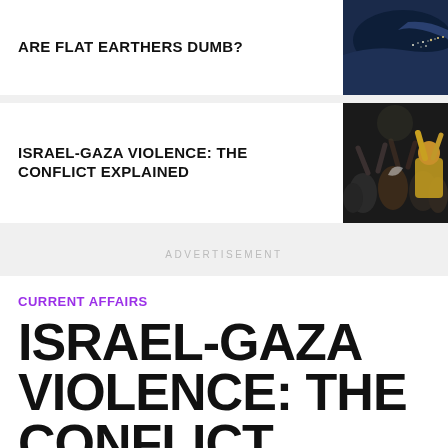ARE FLAT EARTHERS DUMB?
[Figure (photo): Aerial coastal photo showing dark ocean and lit coastline at night]
ISRAEL-GAZA VIOLENCE: THE CONFLICT EXPLAINED
[Figure (photo): Crowd of people with raised hands at night, some wearing keffiyeh]
ADVERTISEMENT
CURRENT AFFAIRS
ISRAEL-GAZA VIOLENCE: THE CONFLICT EXPLAINED